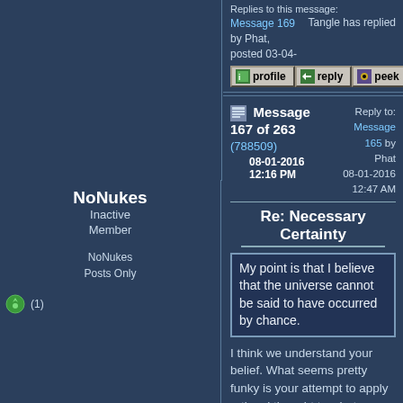Replies to this message:
Message 169 by Phat, posted 03-04-2019 11:08 AM — Tangle has replied
[Figure (screenshot): Forum action buttons: profile, reply, peek]
NoNukes — Inactive Member — NoNukes Posts Only — (1)
Message 167 of 263 (788509) — 08-01-2016 12:16 PM — Reply to: Message 165 by Phat — 08-01-2016 12:47 AM
Re: Necessary Certainty
My point is that I believe that the universe cannot be said to have occurred by chance.
I think we understand your belief. What seems pretty funky is your attempt to apply rational thought to what you believe. I sincerely doubt that even the sources you quote came to their set of beliefs using what you describe as logic. That stuff is clearly after the fact of your belief. It contains no persuasive power whatsoever.
The universe was in fact created by